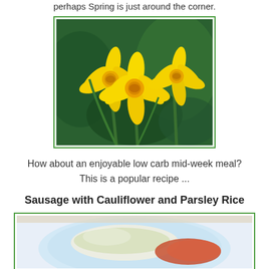perhaps Spring is just around the corner.
[Figure (photo): Bright yellow daffodil flowers with green stems and blurred green background, framed with a green border]
How about an enjoyable low carb mid-week meal?
This is a popular recipe ...
Sausage with Cauliflower and Parsley Rice
[Figure (photo): A plate of sausage with cauliflower and parsley rice, photographed from above on a light background, framed with a green border]